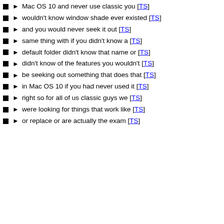Mac OS 10 and never use classic you [TS]
wouldn't know window shade ever existed [TS]
and you would never seek it out [TS]
same thing with if you didn't know a [TS]
default folder didn't know that name or [TS]
didn't know of the features you wouldn't [TS]
be seeking out something that does that [TS]
in Mac OS 10 if you had never used it [TS]
right so for all of us classic guys we [TS]
were looking for things that work like [TS]
or replace or are actually the exam [TS]